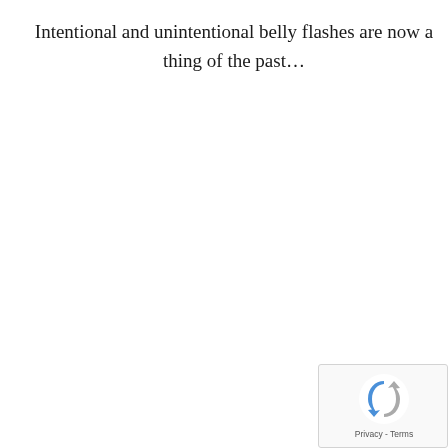Intentional and unintentional belly flashes are now a thing of the past…
[Figure (logo): Google reCAPTCHA badge with spinning arrows logo, showing Privacy and Terms links]